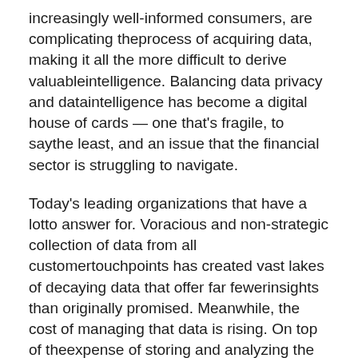increasingly well-informed consumers, are complicating theprocess of acquiring data, making it all the more difficult to derive valuableintelligence. Balancing data privacy and dataintelligence has become a digital house of cards — one that's fragile, to saythe least, and an issue that the financial sector is struggling to navigate.
Today's leading organizations that have a lotto answer for. Voracious and non-strategic collection of data from all customertouchpoints has created vast lakes of decaying data that offer far fewerinsights than originally promised. Meanwhile, the cost of managing that data is rising. On top of theexpense of storing and analyzing the data and complying with new regulations,organizations must hire highly skilled talent.
Beyond the complexity of data management isthe